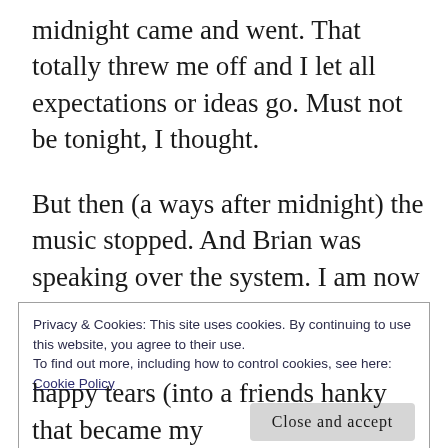midnight came and went. That totally threw me off and I let all expectations or ideas go. Must not be tonight, I thought.
But then (a ways after midnight) the music stopped. And Brian was speaking over the system. I am now thinking that something has happened and this is an announcement. But instead Brian was thanking everyone for coming and confessing his plan while call me up to the DJ booth!! His plan included all our
Privacy & Cookies: This site uses cookies. By continuing to use this website, you agree to their use.
To find out more, including how to control cookies, see here: Cookie Policy
Close and accept
happy tears (into a friends hanky that became my